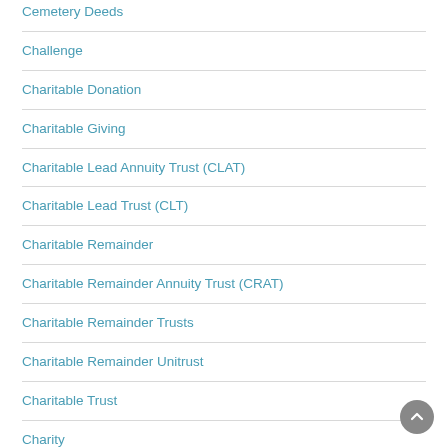Cemetery Deeds
Challenge
Charitable Donation
Charitable Giving
Charitable Lead Annuity Trust (CLAT)
Charitable Lead Trust (CLT)
Charitable Remainder
Charitable Remainder Annuity Trust (CRAT)
Charitable Remainder Trusts
Charitable Remainder Unitrust
Charitable Trust
Charity
Child Abuse